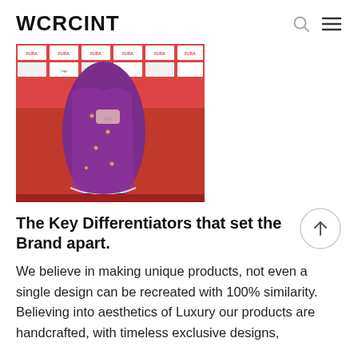WCRCINT
[Figure (photo): Woman wearing a purple saree standing on a red carpet in front of a sponsor backdrop with FURA branding. The photo shows the lower body of the figure. The backdrop has red and white sponsor logos.]
The Key Differentiators that set the Brand apart.
We believe in making unique products, not even a single design can be recreated with 100% similarity. Believing into aesthetics of Luxury our products are handcrafted, with timeless exclusive designs,